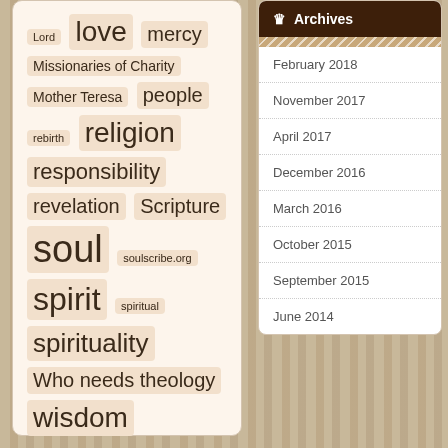Lord love mercy Missionaries of Charity Mother Teresa people rebirth religion responsibility revelation Scripture soul soulscribe.org spirit spiritual spirituality Who needs theology wisdom
Archives
February 2018
November 2017
April 2017
December 2016
March 2016
October 2015
September 2015
June 2014